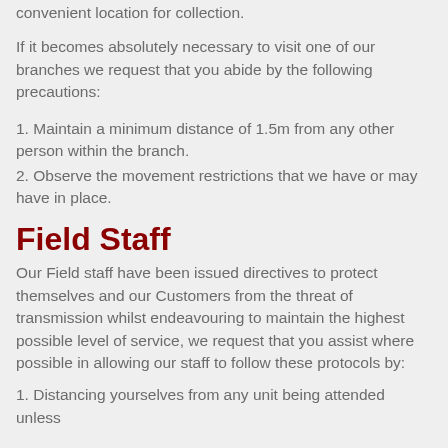convenient location for collection.
If it becomes absolutely necessary to visit one of our branches we request that you abide by the following precautions:
1. Maintain a minimum distance of 1.5m from any other person within the branch.
2. Observe the movement restrictions that we have or may have in place.
Field Staff
Our Field staff have been issued directives to protect themselves and our Customers from the threat of transmission whilst endeavouring to maintain the highest possible level of service, we request that you assist where possible in allowing our staff to follow these protocols by:
1. Distancing yourselves from any unit being attended unless